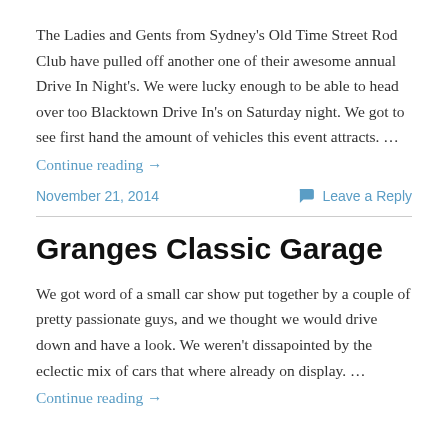The Ladies and Gents from Sydney's Old Time Street Rod Club have pulled off another one of their awesome annual Drive In Night's. We were lucky enough to be able to head over too Blacktown Drive In's on Saturday night. We got to see first hand the amount of vehicles this event attracts. …
Continue reading →
November 21, 2014
Leave a Reply
Granges Classic Garage
We got word of a small car show put together by a couple of pretty passionate guys, and we thought we would drive down and have a look. We weren't dissapointed by the eclectic mix of cars that where already on display. …
Continue reading →